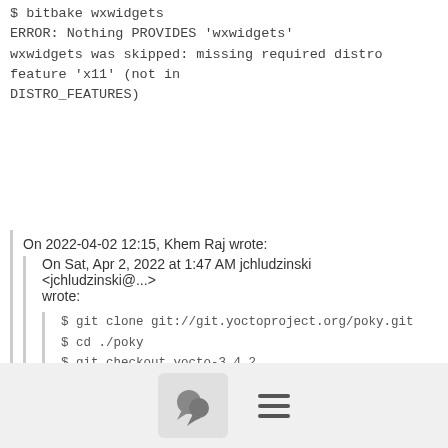$ bitbake wxwidgets
ERROR: Nothing PROVIDES 'wxwidgets'
wxwidgets was skipped: missing required distro feature 'x11' (not in
DISTRO_FEATURES)
On 2022-04-02 12:15, Khem Raj wrote:
On Sat, Apr 2, 2022 at 1:47 AM jchludzinski <jchludzinski@...> wrote:
$ git clone git://git.yoctoproject.org/poky.git
$ cd ./poky
$ git checkout yocto-3.4.2
$ cd ..
$ source ./poky/oe-init-build-env
$ cd ./build
[Figure (other): Toolbar with comment bubble icon button and hamburger menu icon]